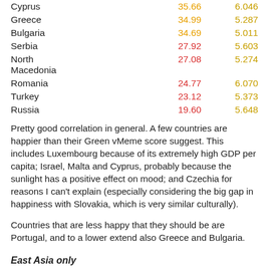| Country | Val1 | Val2 |
| --- | --- | --- |
| Cyprus | 35.66 | 6.046 |
| Greece | 34.99 | 5.287 |
| Bulgaria | 34.69 | 5.011 |
| Serbia | 27.92 | 5.603 |
| North Macedonia | 27.08 | 5.274 |
| Romania | 24.77 | 6.070 |
| Turkey | 23.12 | 5.373 |
| Russia | 19.60 | 5.648 |
Pretty good correlation in general. A few countries are happier than their Green vMeme score suggest. This includes Luxembourg because of its extremely high GDP per capita; Israel, Malta and Cyprus, probably because the sunlight has a positive effect on mood; and Czechia for reasons I can't explain (especially considering the big gap in happiness with Slovakia, which is very similar culturally).
Countries that are less happy that they should be are Portugal, and to a lower extend also Greece and Bulgaria.
East Asia only